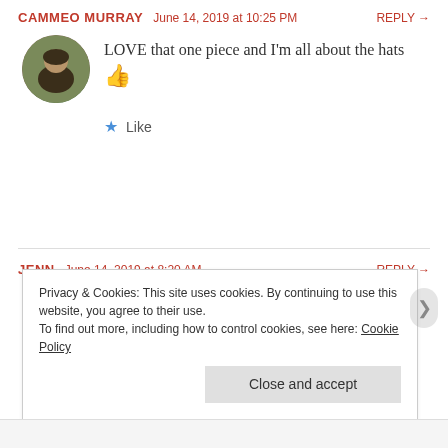CAMMEO MURRAY  June 14, 2019 at 10:25 PM  REPLY →
LOVE that one piece and I'm all about the hats 👍
★ Like
JENN  June 14, 2019 at 8:20 AM  REPLY →
I love those daffodil espadrilles and all your bathing suit choices! So cute!
Privacy & Cookies: This site uses cookies. By continuing to use this website, you agree to their use. To find out more, including how to control cookies, see here: Cookie Policy
Close and accept